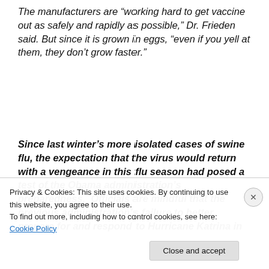The manufacturers are “working hard to get vaccine out as safely and rapidly as possible,” Dr. Frieden said. But since it is grown in eggs, “even if you yell at them, they don’t grow faster.”
Since last winter’s more isolated cases of swine flu, the expectation that the virus would return with a vengeance in this flu season had posed a test of the Obama administration’s preparedness.  Officials are mindful that the previous administration’s failure to better prepare for and respond to Hurricane Katrina in
Privacy & Cookies: This site uses cookies. By continuing to use this website, you agree to their use.
To find out more, including how to control cookies, see here: Cookie Policy